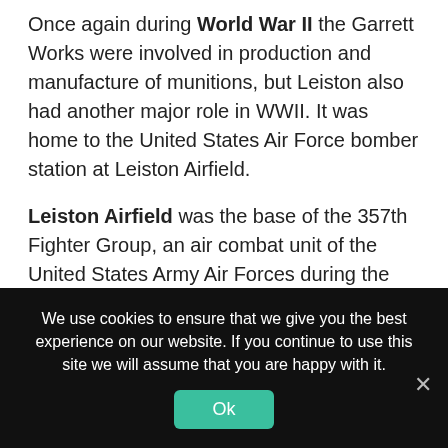Once again during World War II the Garrett Works were involved in production and manufacture of munitions, but Leiston also had another major role in WWII. It was home to the United States Air Force bomber station at Leiston Airfield.
Leiston Airfield was the base of the 357th Fighter Group, an air combat unit of the United States Army Air Forces during the Second World War. The 357th operated P-51 Mustang aircraft as part of the U.S. Eighth Air Force. Its members were known unofficially as the Yoxford Boys after the village of Yoxford near their base in the UK.
We use cookies to ensure that we give you the best experience on our website. If you continue to use this site we will assume that you are happy with it.